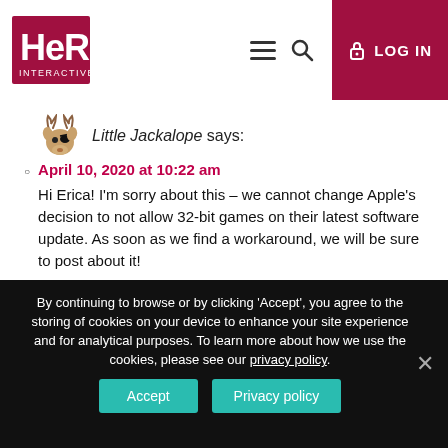HeR Interactive — LOG IN
[Figure (illustration): Cartoon jackalope avatar (moose/deer with antlers wearing an eyepatch), used as commenter profile image]
Little Jackalope says:
April 10, 2020 at 10:22 am
Hi Erica! I'm sorry about this – we cannot change Apple's decision to not allow 32-bit games on their latest software update. As soon as we find a workaround, we will be sure to post about it!
Reply
By continuing to browse or by clicking 'Accept', you agree to the storing of cookies on your device to enhance your site experience and for analytical purposes. To learn more about how we use the cookies, please see our privacy policy.